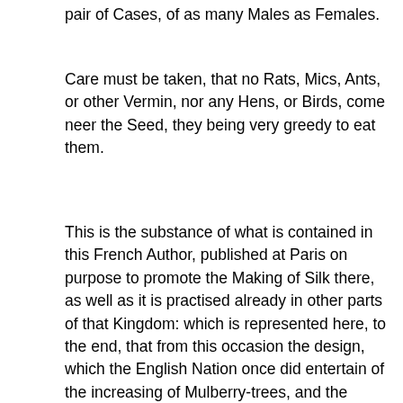pair of Cases, of as many Males as Females.
Care must be taken, that no Rats, Mics, Ants, or other Vermin, nor any Hens, or Birds, come neer the Seed, they being very greedy to eat them.
This is the substance of what is contained in this French Author, published at Paris on purpose to promote the Making of Silk there, as well as it is practised already in other parts of that Kingdom: which is represented here, to the end, that from this occasion the design, which the English Nation once did entertain of the increasing of Mulberry-trees, and the Breeding of Silk-worms, for making of Silk within themselves, may be renewed, and that encouragement, given by King James of Glorious memory for that purpose (witnes that Letter which he directed to the Lords Lietenants of the several shires of England) and seconded by his Most Excellent Majesty, that now is, be made use of, for the honour of England and Virginia, and the increase of wealth to the people thereof: especially since there is cause of hope, that a double Silk-